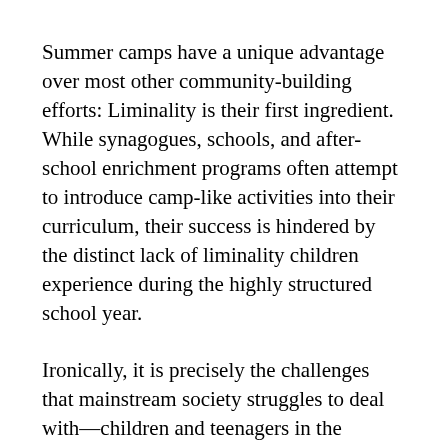Summer camps have a unique advantage over most other community-building efforts: Liminality is their first ingredient. While synagogues, schools, and after-school enrichment programs often attempt to introduce camp-like activities into their curriculum, their success is hindered by the distinct lack of liminality children experience during the highly structured school year.
Ironically, it is precisely the challenges that mainstream society struggles to deal with—children and teenagers in the summer time – that summer camps embrace and channel toward the realization of their primary goals: personal and communal transformation.
Take transitional people in transitional time, put them in